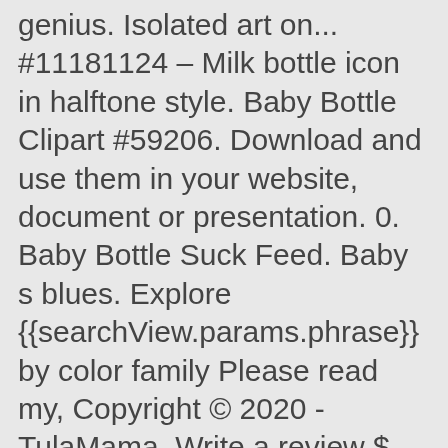genius. Isolated art on... #11181124 – Milk bottle icon in halftone style. Baby Bottle Clipart #59206. Download and use them in your website, document or presentation. 0. Baby Bottle Suck Feed. Baby s blues. Explore {{searchView.params.phrase}} by color family Please read my, Copyright © 2020 - TulaMama. Write a review $ 8.00. Hot Chocolate Clip Art. We use cookies to provide you with better experience. Baby Bottle Clipart #59204. baby bottle Free to use png Baby Bottle Clipart Views: 266 Downloads: 17 Filetype: JPEG Filsize: 172 KB Dimensions: 840x1182. 43 73 4. By using our website, you agree to the use of cookies as described in our Cookie Policy. 58 86 3. Thanksgiving Png Clipart. Did you know... Baby bottles have been used since recorded history. ITEM INCLUTED: – 2 compressed files – 15 different images in